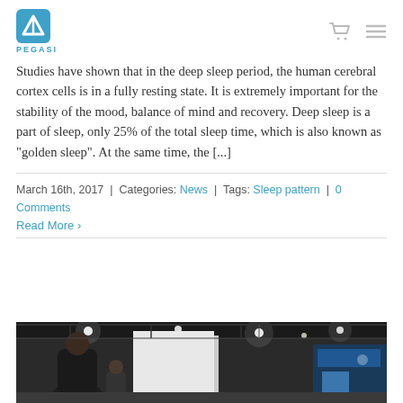PEGASI
Studies have shown that in the deep sleep period, the human cerebral cortex cells is in a fully resting state. It is extremely important for the stability of the mood, balance of mind and recovery. Deep sleep is a part of sleep, only 25% of the total sleep time, which is also known as "golden sleep". At the same time, the [...]
March 16th, 2017 | Categories: News | Tags: Sleep pattern | 0 Comments
Read More >
[Figure (photo): Photo of a trade show or exhibition hall with people walking around, white booth partitions, and overhead warehouse lighting.]